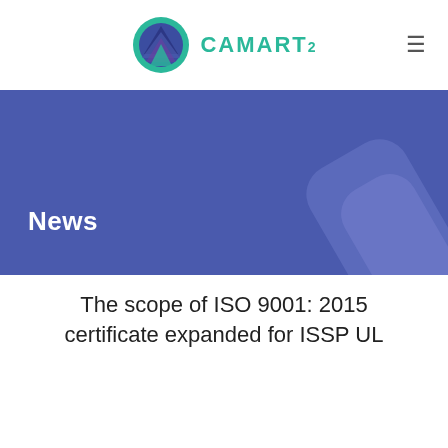[Figure (logo): CAMART2 logo — circular icon with teal/navy/purple layered shapes, followed by text CAMART with superscript 2 in teal]
News
The scope of ISO 9001: 2015 certificate expanded for ISSP UL